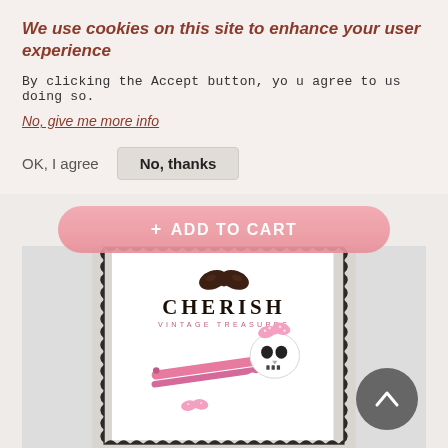We use cookies on this site to enhance your user experience
By clicking the Accept button, you agree to us doing so.
No, give me more info
OK, I agree
No, thanks
+ ADD TO CART
[Figure (photo): Product photo showing Cherish Vintage Treasures branded hair clip with white skull and crossbones figure with pink bow on a pink snap clip, displayed on a branded product card with scallop border decoration]